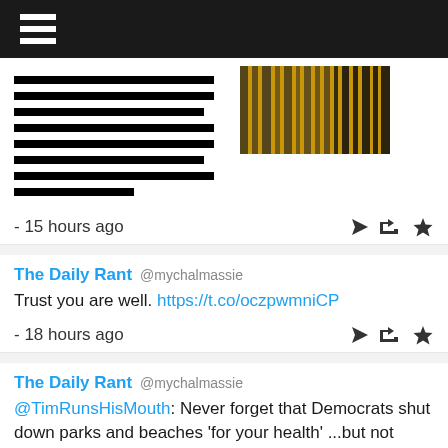[Figure (screenshot): Top navigation bar with hamburger menu icon on dark background]
[Figure (photo): Partial tweet with redacted text lines and a zebra photo]
- 15 hours ago
The Daily Rant @mychalmassie
Trust you are well. https://t.co/oczpwmniCP
- 18 hours ago
The Daily Rant @mychalmassie
@TimRunsHisMouth: Never forget that Democrats shut down parks and beaches 'for your health' ...but not violent BLM riots.
- 19 hours ago